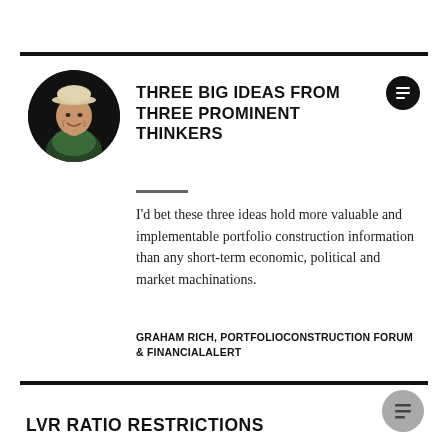[Figure (photo): Circular headshot of a smiling man wearing a light-colored hat, against a dark background]
THREE BIG IDEAS FROM THREE PROMINENT THINKERS
I'd bet these three ideas hold more valuable and implementable portfolio construction information than any short-term economic, political and market machinations.
GRAHAM RICH, PORTFOLIOCONSTRUCTION FORUM & FINANCIALALERT
LVR RATIO RESTRICTIONS